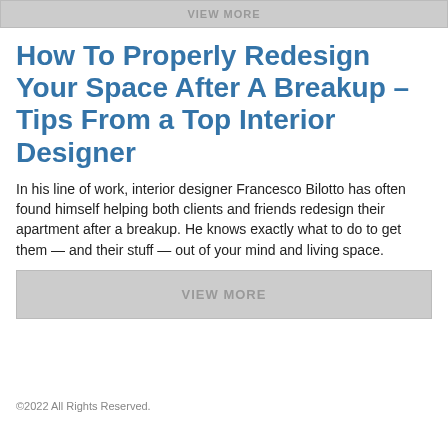VIEW MORE
How To Properly Redesign Your Space After A Breakup – Tips From a Top Interior Designer
In his line of work, interior designer Francesco Bilotto has often found himself helping both clients and friends redesign their apartment after a breakup. He knows exactly what to do to get them — and their stuff — out of your mind and living space.
VIEW MORE
©2022 All Rights Reserved.